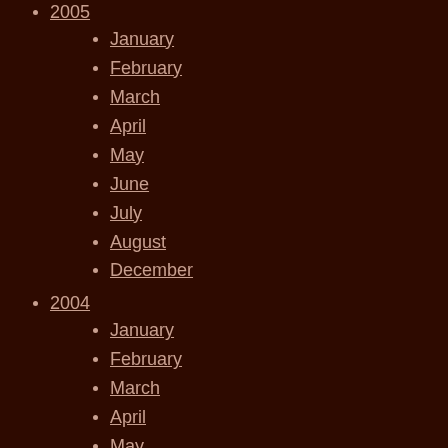2005
January
February
March
April
May
June
July
August
December
2004
January
February
March
April
May
June
July
August
September